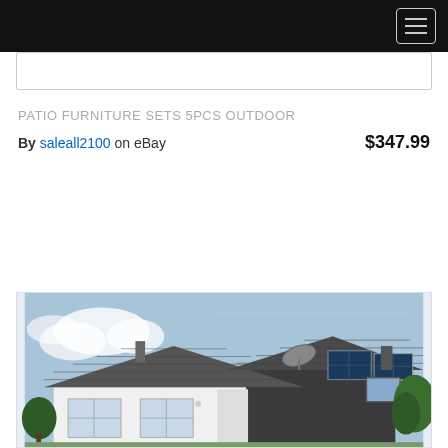Navigation bar with hamburger menu icon
PATIO FURNITURE SETS 5PCS OUTDOOR
By saleall2100 on eBay  $347.99
[Figure (photo): Photo of a house exterior with a dark tiled roof featuring a satellite dish, solar panels, and a skylight window. The house has white walls with windows and is surrounded by trees under a blue sky.]